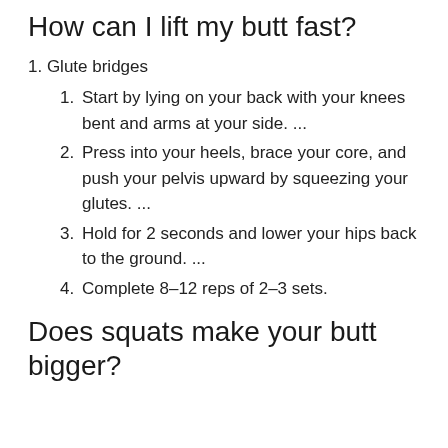How can I lift my butt fast?
1. Glute bridges
1. Start by lying on your back with your knees bent and arms at your side. ...
2. Press into your heels, brace your core, and push your pelvis upward by squeezing your glutes. ...
3. Hold for 2 seconds and lower your hips back to the ground. ...
4. Complete 8–12 reps of 2–3 sets.
Does squats make your butt bigger?